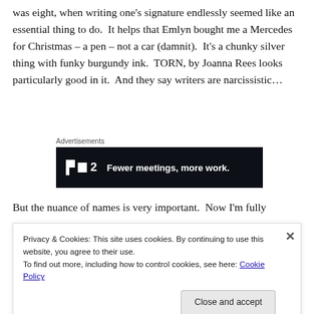was eight, when writing one's signature endlessly seemed like an essential thing to do.  It helps that Emlyn bought me a Mercedes for Christmas – a pen – not a car (damnit).  It's a chunky silver thing with funky burgundy ink.  TORN, by Joanna Rees looks particularly good in it.  And they say writers are narcissistic…
Advertisements
[Figure (other): Advertisement banner with dark background showing 'F2  Fewer meetings, more work.' logo and text in white on black background.]
But the nuance of names is very important.  Now I'm fully
Privacy & Cookies: This site uses cookies. By continuing to use this website, you agree to their use.
To find out more, including how to control cookies, see here: Cookie Policy